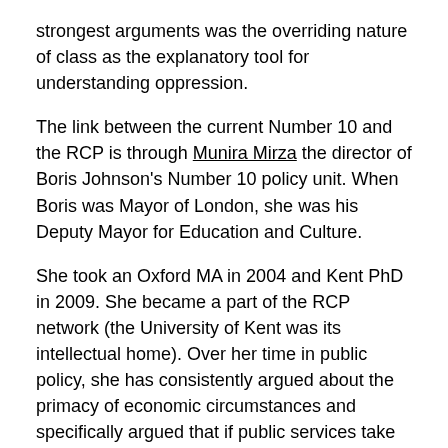strongest arguments was the overriding nature of class as the explanatory tool for understanding oppression.
The link between the current Number 10 and the RCP is through Munira Mirza the director of Boris Johnson's Number 10 policy unit. When Boris was Mayor of London, she was his Deputy Mayor for Education and Culture.
She took an Oxford MA in 2004 and Kent PhD in 2009. She became a part of the RCP network (the University of Kent was its intellectual home). Over her time in public policy, she has consistently argued about the primacy of economic circumstances and specifically argued that if public services take race into account and treat people differently this ‘fuels a sense of exclusion’. *
It’s not difficult, therefore, to demonstrate the strong link between the RCP and the heart of the Johnson